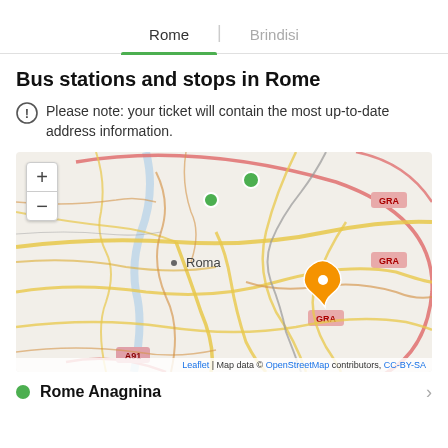Rome | Brindisi
Bus stations and stops in Rome
Please note: your ticket will contain the most up-to-date address information.
[Figure (map): Map of Rome (Roma) showing bus stop locations. Green circular markers indicate stops in the northern area. An orange pin marker is located in the southeastern area near the GRA ring road. Map labels include Roma, GRA (multiple), A91. Zoom controls (+/-) visible on top left. Attribution: Leaflet | Map data © OpenStreetMap contributors, CC-BY-SA]
Rome Anagnina